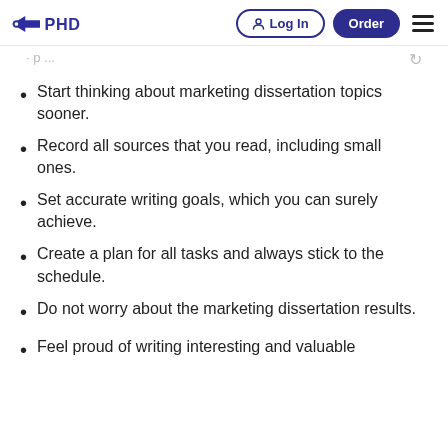PHD — Log In | Order
Start thinking about marketing dissertation topics sooner.
Record all sources that you read, including small ones.
Set accurate writing goals, which you can surely achieve.
Create a plan for all tasks and always stick to the schedule.
Do not worry about the marketing dissertation results.
Feel proud of writing interesting and valuable…